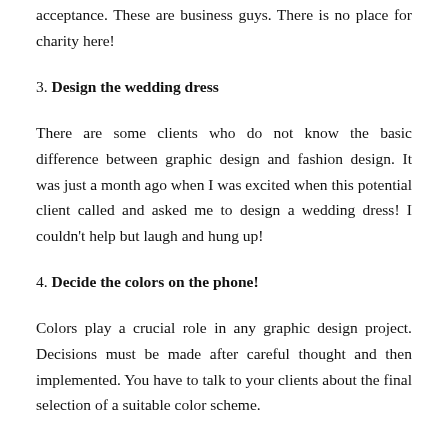acceptance. These are business guys. There is no place for charity here!
3. Design the wedding dress
There are some clients who do not know the basic difference between graphic design and fashion design. It was just a month ago when I was excited when this potential client called and asked me to design a wedding dress! I couldn't help but laugh and hung up!
4. Decide the colors on the phone!
Colors play a crucial role in any graphic design project. Decisions must be made after careful thought and then implemented. You have to talk to your clients about the final selection of a suitable color scheme.